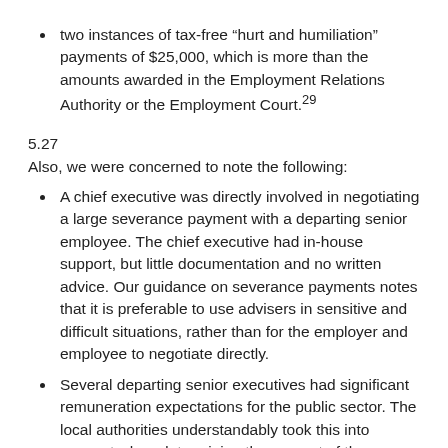two instances of tax-free "hurt and humiliation" payments of $25,000, which is more than the amounts awarded in the Employment Relations Authority or the Employment Court.29
5.27
Also, we were concerned to note the following:
A chief executive was directly involved in negotiating a large severance payment with a departing senior employee. The chief executive had in-house support, but little documentation and no written advice. Our guidance on severance payments notes that it is preferable to use advisers in sensitive and difficult situations, rather than for the employer and employee to negotiate directly.
Several departing senior executives had significant remuneration expectations for the public sector. The local authorities understandably took this into account when determining the amount of the severance payments. However, in one instance, an